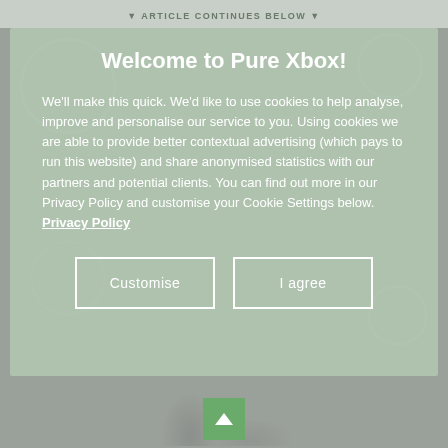▼ ARTICLE CONTINUES BELOW ▼
Welcome to Pure Xbox!
We'll make this quick. We'd like to use cookies to help analyse, improve and personalise our service to you. Using cookies we are able to provide better contextual advertising (which pays to run this website) and share anonymised statistics with our partners and potential clients. You can find out more in our Privacy Policy and customise your Cookie Settings below. Privacy Policy
Customise
I agree
[Figure (screenshot): Background photo of a person, partially visible, in a grey/muted scene below the cookie consent overlay]